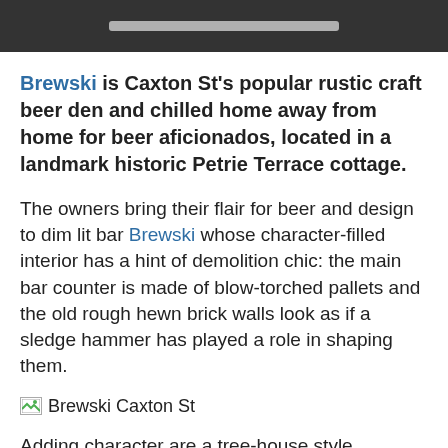Brewski is Caxton St's popular rustic craft beer den and chilled home away from home for beer aficionados, located in a landmark historic Petrie Terrace cottage.
The owners bring their flair for beer and design to dim lit bar Brewski whose character-filled interior has a hint of demolition chic: the main bar counter is made of blow-torched pallets and the old rough hewn brick walls look as if a sledge hammer has played a role in shaping them.
[Figure (photo): Brewski Caxton St image placeholder with broken image icon]
Adding character are a tree-house style courtyard and deck out back with district views, original fireplaces, a Chesterfield couch-filled nook and bar